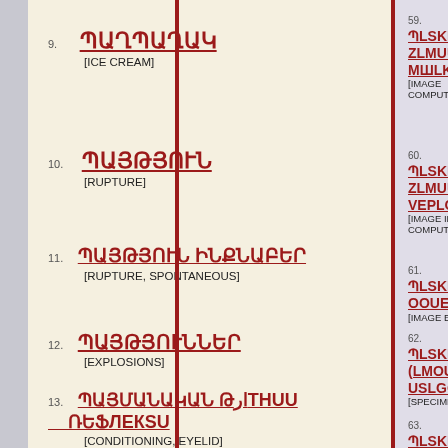9. ՊԱՂՊԱՂԱԿ [ICE CREAM]
10. ՊԱՅԹՅՈՒՆ [RUPTURE]
11. ՊԱՅԹՅՈՒՆ ԻՆՔՆԱԲԵՐ [RUPTURE, SPONTANEOUS]
12. ՊԱՅԹՅՈՒՆՆԵՐ [EXPLOSIONS]
13. ՊԱՅՄԱՆԱԿԱՆ ԹԱՐԹՄԱՆ ՌԵՖԼԵՔՍ [CONDITIONING, EYELID]
59. ՊاSKEPИ ՀԱՄLKAPGOU ՄՇLKPOU [IMAGE PROCESSING, COMPUTER-AS]
60. ՊLSKEPИ ՀLMUKPGOU ՎEPLOUԻOUB [IMAGE INTERPRETATION, COMPUTER-AS]
61. ՊLSKEPИ OOUEULGOU [IMAGE ENHANCEMENT]
62. ՊLSKEPLE (LMOUSNEPИ) USLGOU [SPECIMEN HANDLING]
63. ՊLSKEPLE ՀLMUKPGOU VEPLOUИOUB [RADIOGRAPHIC INTERPRETATION]